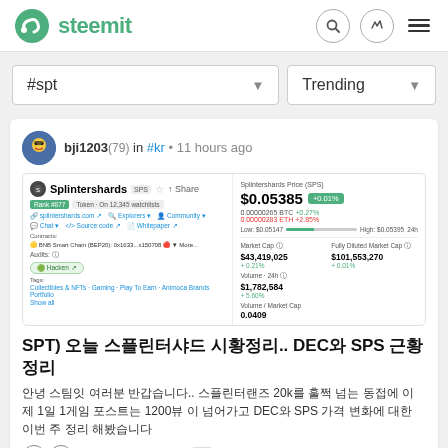steemit
#spt | Trending
[Figure (screenshot): Splintershards (SPS) token price page showing $0.05385 price with +0.01% change, market cap $43,419,025, fully diluted market cap $101,553,270, volume 24h $1,782,584, volume/market cap 0.0409]
SPT) 오늘 스플린터샤드 시황정리.. DEC와 SPS 근황 정리
안녕 스팀잇 여러분 반갑습니다.. 스플린터랜즈 20k를 훌쩍 넘는 동접에 이제 1일 1게임 포스트는 1200뷰 이 넘어가고 DEC와 SPS 가격 변화에 대한 이번 주 정리 해봤습니다
$9.00 · 80 · 4